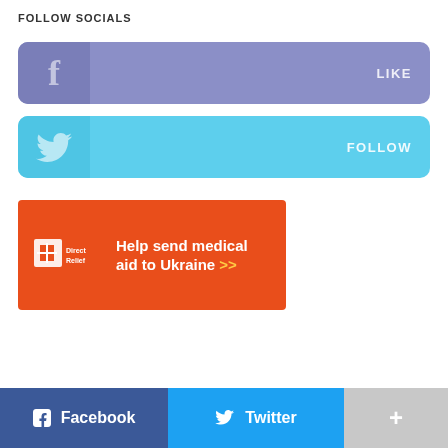FOLLOW SOCIALS
[Figure (infographic): Facebook Like button - purple rounded rectangle with Facebook f icon on left and LIKE text on right]
[Figure (infographic): Twitter Follow button - light blue rounded rectangle with Twitter bird icon on left and FOLLOW text on right]
[Figure (infographic): Direct Relief advertisement banner - orange rectangle with Direct Relief logo and text 'Help send medical aid to Ukraine >>']
[Figure (infographic): Bottom social share bar with Facebook, Twitter, and More (+) buttons]